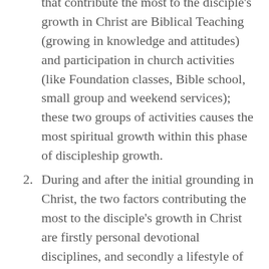that contribute the most to the disciple's growth in Christ are Biblical Teaching (growing in knowledge and attitudes) and participation in church activities (like Foundation classes, Bible school, small group and weekend services); these two groups of activities causes the most spiritual growth within this phase of discipleship growth.
During and after the initial grounding in Christ, the two factors contributing the most to the disciple's growth in Christ are firstly personal devotional disciplines, and secondly a lifestyle of